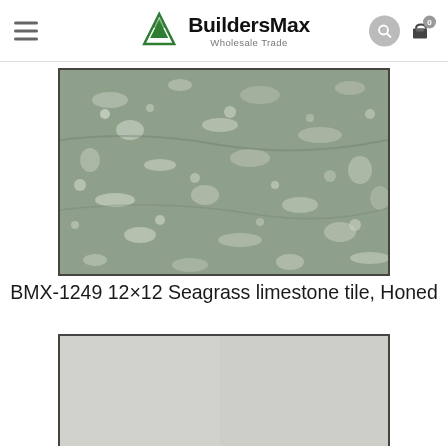BuildersMax Wholesale Trade — navigation header with hamburger menu, logo, search icon, and cart icon
[Figure (photo): Close-up photograph of a Seagrass limestone tile with honed finish showing a mottled grey-green texture with white fossil inclusions]
BMX-1249 12×12 Seagrass limestone tile, Honed
[Figure (photo): Partially visible photograph of a smooth light grey tile (second product, cut off at bottom of page)]